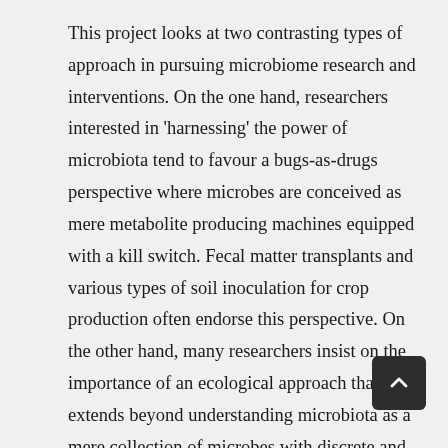This project looks at two contrasting types of approach in pursuing microbiome research and interventions. On the one hand, researchers interested in 'harnessing' the power of microbiota tend to favour a bugs-as-drugs perspective where microbes are conceived as mere metabolite producing machines equipped with a kill switch. Fecal matter transplants and various types of soil inoculation for crop production often endorse this perspective. On the other hand, many researchers insist on the importance of an ecological approach that extends beyond understanding microbiota as a mere collection of microbes with discrete and predictable functions. This ecological perspective is in line with systems biology, which emerged in response to various forms of biological reductionism over the last decades. The concept of holobiont, for example, implies that individual organisms are in fact ecosystems formed